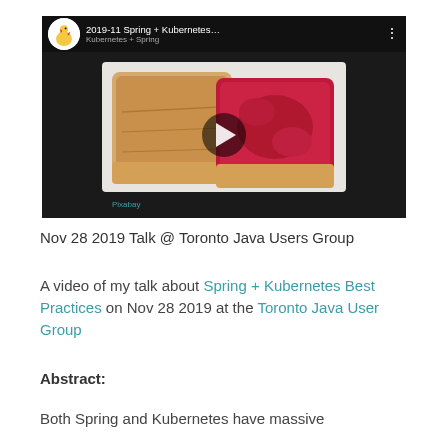[Figure (screenshot): YouTube-style video thumbnail showing '2019-11 Spring + Kubernetes...' with a peanut butter and jam toast image, play button overlay, channel logo, and menu dots]
Nov 28 2019 Talk @ Toronto Java Users Group
A video of my talk about Spring + Kubernetes Best Practices on Nov 28 2019 at the Toronto Java User Group
Abstract:
Both Spring and Kubernetes have massive